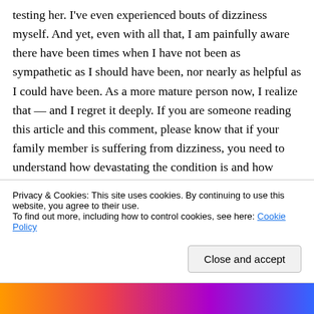testing her. I've even experienced bouts of dizziness myself. And yet, even with all that, I am painfully aware there have been times when I have not been as sympathetic as I should have been, nor nearly as helpful as I could have been. As a more mature person now, I realize that — and I regret it deeply. If you are someone reading this article and this comment, please know that if your family member is suffering from dizziness, you need to understand how devastating the condition is and how helpless
Privacy & Cookies: This site uses cookies. By continuing to use this website, you agree to their use.
To find out more, including how to control cookies, see here: Cookie Policy